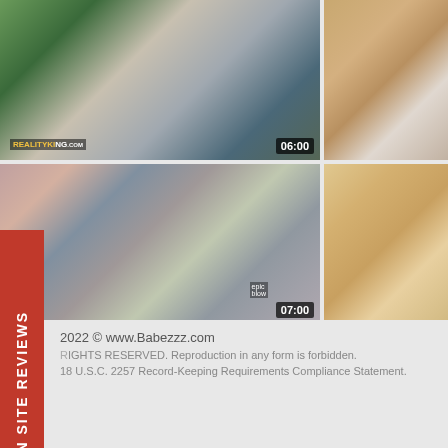[Figure (photo): Thumbnail grid of adult video content with two rows of two thumbnails each. Top-left thumbnail shows outdoor scene with duration badge 06:00 and RealityKi watermark. Top-right thumbnail shows indoor scene. Bottom-left thumbnail shows indoor bedroom/couch scene with duration badge 07:00 and epic blow watermark. Bottom-right thumbnail shows close-up scene.]
PORN SITE REVIEWS
2022 © www.Babezzz.com
RIGHTS RESERVED. Reproduction in any form is forbidden.
18 U.S.C. 2257 Record-Keeping Requirements Compliance Statement.